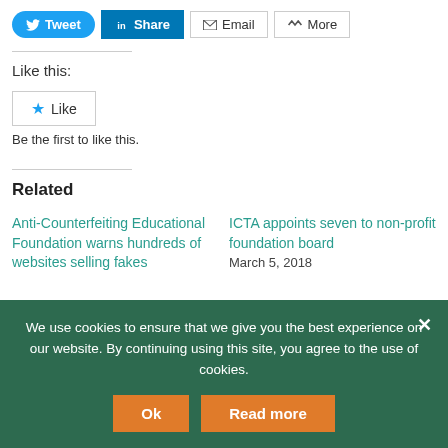[Figure (screenshot): Social sharing buttons row: Tweet (blue rounded), Share (LinkedIn blue), Email (outlined), More (outlined)]
Like this:
[Figure (other): Like button with star icon]
Be the first to like this.
Related
Anti-Counterfeiting Educational Foundation warns hundreds of websites selling fakes
ICTA appoints seven to non-profit foundation board
March 5, 2018
We use cookies to ensure that we give you the best experience on our website. By continuing using this site, you agree to the use of cookies.
Ok
Read more